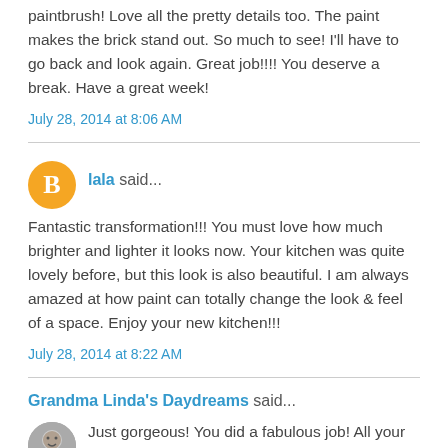paintbrush! Love all the pretty details too. The paint makes the brick stand out. So much to see! I'll have to go back and look again. Great job!!!! You deserve a break. Have a great week!
July 28, 2014 at 8:06 AM
lala said...
Fantastic transformation!!! You must love how much brighter and lighter it looks now. Your kitchen was quite lovely before, but this look is also beautiful. I am always amazed at how paint can totally change the look & feel of a space. Enjoy your new kitchen!!!
July 28, 2014 at 8:22 AM
Grandma Linda's Daydreams said...
Just gorgeous! You did a fabulous job! All your little touches, the kick board grill details, the prints you select, the pretty appliques, really make it so homey